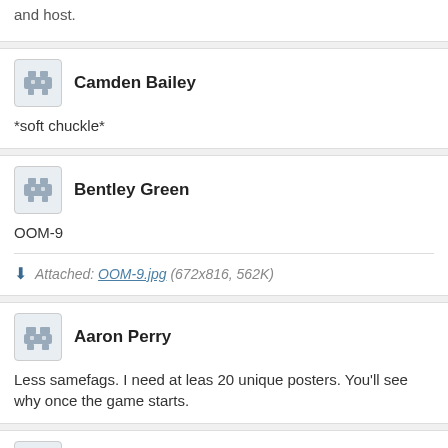and host.
Camden Bailey
*soft chuckle*
Bentley Green
OOM-9
Attached: OOM-9.jpg (672x816, 562K)
Aaron Perry
Less samefags. I need at leas 20 unique posters. You'll see why once the game starts.
Andrew Lewis
OOM-9